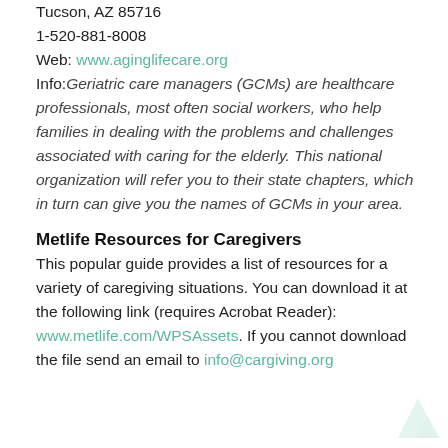Tucson, AZ 85716
1-520-881-8008
Web: www.aginglifecare.org
Info: Geriatric care managers (GCMs) are healthcare professionals, most often social workers, who help families in dealing with the problems and challenges associated with caring for the elderly. This national organization will refer you to their state chapters, which in turn can give you the names of GCMs in your area.
Metlife Resources for Caregivers
This popular guide provides a list of resources for a variety of caregiving situations. You can download it at the following link (requires Acrobat Reader): www.metlife.com/WPSAssets. If you cannot download the file send an email to info@cargiving.org